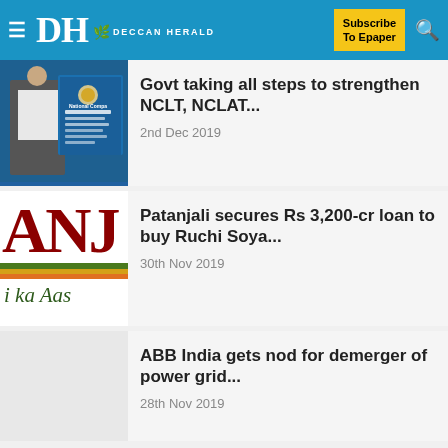DH DECCAN HERALD — Subscribe To Epaper
[Figure (photo): Man in white shirt near National Company Law Tribunal sign board on blue background]
Govt taking all steps to strengthen NCLT, NCLAT...
2nd Dec 2019
[Figure (logo): Patanjali logo showing ANJA text in dark red with green, yellow and orange stripes and italic text 'i ka Aas']
Patanjali secures Rs 3,200-cr loan to buy Ruchi Soya...
30th Nov 2019
ABB India gets nod for demerger of power grid...
28th Nov 2019